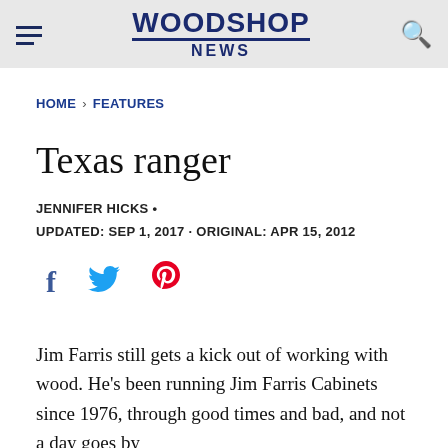WOODSHOP NEWS
HOME > FEATURES
Texas ranger
JENNIFER HICKS •
UPDATED: SEP 1, 2017 · ORIGINAL: APR 15, 2012
[Figure (other): Social media share icons: Facebook, Twitter, Pinterest]
Jim Farris still gets a kick out of working with wood. He's been running Jim Farris Cabinets since 1976, through good times and bad, and not a day goes by